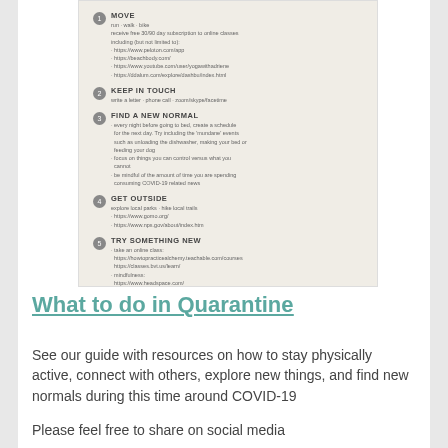[Figure (infographic): A numbered list infographic on a beige background from Haven Counseling Center titled with 5 steps: 1. MOVE (run/walk/bike, receive free 30/90 day subscription to online classes), 2. KEEP IN TOUCH (write a letter, phone call, zoom/skype/facetime), 3. FIND A NEW NORMAL (every night before going to bed, create a schedule for the next day), 4. GET OUTSIDE (explore local parks, hike local trails, with URLs), 5. TRY SOMETHING NEW (take an online class, mindfulness, read a new book, clean/organize areas you have been putting off, take break). Haven Counseling Center logo at bottom.]
What to do in Quarantine
See our guide with resources on how to stay physically active, connect with others, explore new things, and find new normals during this time around COVID-19
Please feel free to share on social media